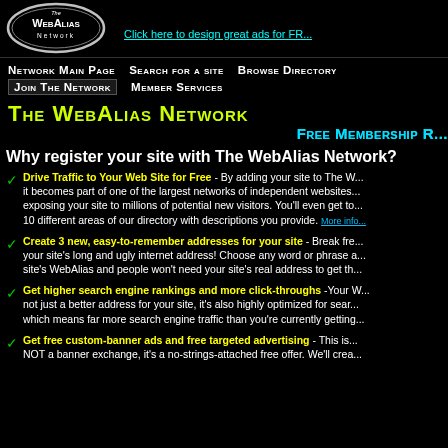[Figure (logo): The WebAlias Network logo — oval shape with white outline on black background, text 'The WebAlias Network' inside]
Click here to design great ads for FR...
Network Main Page | Search for a Site | Browse Directory | Join The Network | Member Services
The WebAlias Network
Free Membership R...
Why register your site with The WebAlias Network?
Drive Traffic to Your Web Site for Free - By adding your site to The W... it becomes part of one of the largest networks of independent websites... exposing your site to millions of potential new visitors. You'll even get to... 10 different areas of our directory with descriptions you provide. More info
Create 3 new, easy-to-remember addresses for your site - Break fre... your site's long and ugly internet address! Choose any word or phrase a... site's WebAlias and people won't need your site's real address to get th...
Get higher search engine rankings and more click-throughs - Your W... not just a better address for your site, it's also highly optimized for sear... which means far more search engine traffic than you're currently getting...
Get free custom-banner ads and free targeted advertising - This is... NOT a banner exchange, it's a no-strings-attached free offer. We'll crea...